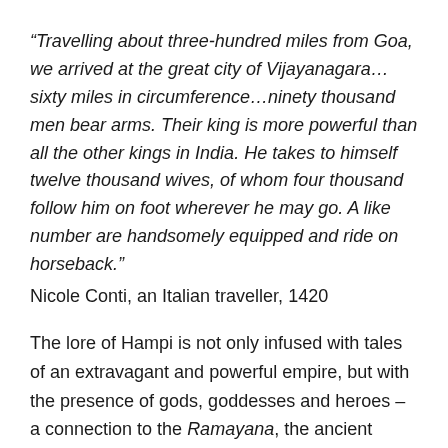“Travelling about three-hundred miles from Goa, we arrived at the great city of Vijayanagara…sixty miles in circumference…ninety thousand men bear arms. Their king is more powerful than all the other kings in India. He takes to himself twelve thousand wives, of whom four thousand follow him on foot wherever he may go. A like number are handsomely equipped and ride on horseback.” Nicole Conti, an Italian traveller, 1420
The lore of Hampi is not only infused with tales of an extravagant and powerful empire, but with the presence of gods, goddesses and heroes – a connection to the Ramayana, the ancient Sanskrit epic which follows Prince Rama’s quest to rescue his beloved wife Sita from the clutches of Ravana with the help of an army of monkeys. We learn this through Basava, our guide throughout the